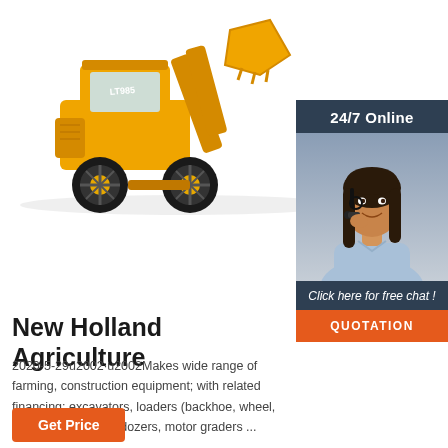[Figure (photo): Yellow wheel loader construction machine shown from side/front angle on white background, with 'LT985' branding visible]
[Figure (photo): Customer service agent woman wearing headset, smiling, shown in a dark navy sidebar panel with '24/7 Online' header and 'Click here for free chat!' call to action and orange QUOTATION button]
New Holland Agriculture
2020-5-29u2002·u2002Makes wide range of farming, construction equipment; with related financing: excavators, loaders (backhoe, wheel, skid steer), crawler dozers, motor graders ...
Get Price